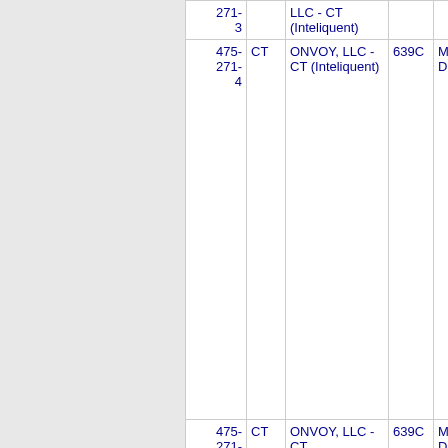| Number | State | Carrier | OCN | City |
| --- | --- | --- | --- | --- |
| 271-3 |  | LLC - CT (Inteliquent) |  |  |
| 475-271-4 | CT | ONVOY, LLC - CT (Inteliquent) | 639C | MILFORD |
| 475-271- | CT | ONVOY, LLC - CT | 639C | MILFORD |